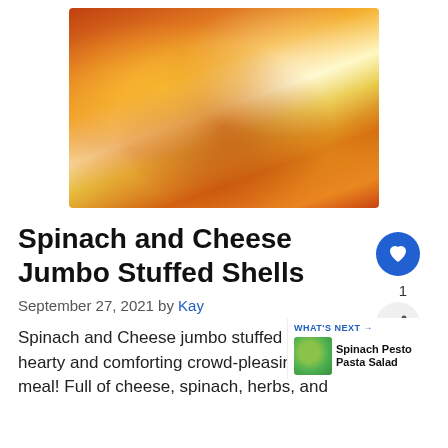[Figure (photo): Overhead close-up photo of spinach and cheese jumbo stuffed shells in a baking dish with tomato sauce and melted cheese, with a serving spoon lifting one shell.]
Spinach and Cheese Jumbo Stuffed Shells
September 27, 2021 by Kay
Spinach and Cheese jumbo stuffed a hearty and comforting crowd-pleasing meal! Full of cheese, spinach, herbs, and